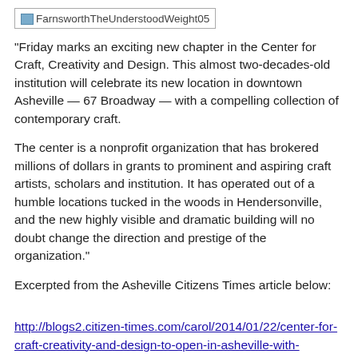[Figure (photo): Image placeholder with filename: FarnsworthTheUnderstoodWeight05]
"Friday marks an exciting new chapter in the Center for Craft, Creativity and Design. This almost two-decades-old institution will celebrate its new location in downtown Asheville — 67 Broadway — with a compelling collection of contemporary craft.
The center is a nonprofit organization that has brokered millions of dollars in grants to prominent and aspiring craft artists, scholars and institution. It has operated out of a humble locations tucked in the woods in Hendersonville, and the new highly visible and dramatic building will no doubt change the direction and prestige of the organization."
Excerpted from the Asheville Citizens Times article below:
http://blogs2.citizen-times.com/carol/2014/01/22/center-for-craft-creativity-and-design-to-open-in-asheville-with-contemporary-art-show-friday/